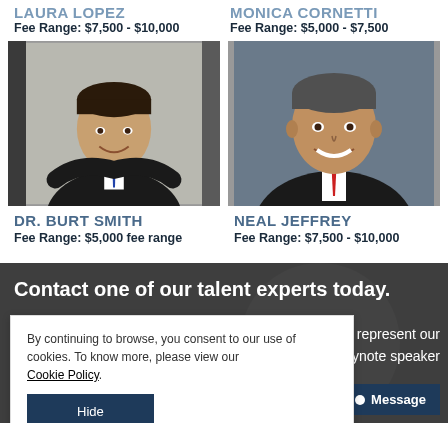LAURA LOPEZ
Fee Range: $7,500 - $10,000
MONICA CORNETTI
Fee Range: $5,000 - $7,500
[Figure (photo): Professional headshot of Dr. Burt Smith, man in dark suit with blue tie, arms crossed, smiling]
DR. BURT SMITH
Fee Range: $5,000 fee range
[Figure (photo): Professional headshot of Neal Jeffrey, man in dark blazer with red tie, smiling, gray background]
NEAL JEFFREY
Fee Range: $7,500 - $10,000
Contact one of our talent experts today.
By continuing to browse, you consent to our use of cookies. To know more, please view our Cookie Policy.
We represent our keynote speaker
Message